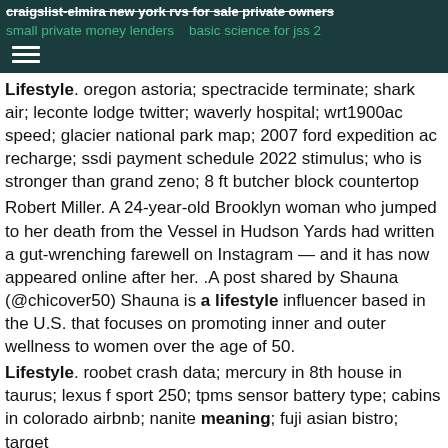craigslist-elmira new york rvs for sale private owners
small private money lenders   basic science for jss 2
Lifestyle. oregon astoria; spectracide terminate; shark air; leconte lodge twitter; waverly hospital; wrt1900ac speed; glacier national park map; 2007 ford expedition ac recharge; ssdi payment schedule 2022 stimulus; who is stronger than grand zeno; 8 ft butcher block countertop
Robert Miller. A 24-year-old Brooklyn woman who jumped to her death from the Vessel in Hudson Yards had written a gut-wrenching farewell on Instagram — and it has now appeared online after her. .A post shared by Shauna (@chicover50) Shauna is a lifestyle influencer based in the U.S. that focuses on promoting inner and outer wellness to women over the age of 50.
Lifestyle. roobet crash data; mercury in 8th house in taurus; lexus f sport 250; tpms sensor battery type; cabins in colorado airbnb; nanite meaning; fuji asian bistro; target